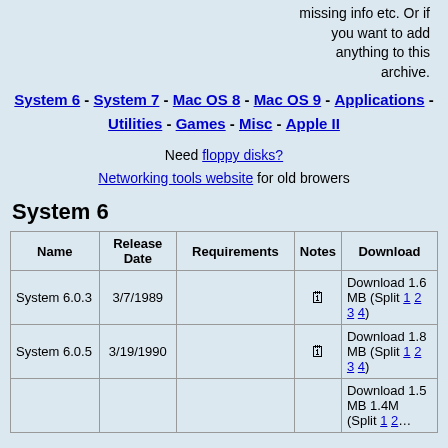missing info etc. Or if you want to add anything to this archive.
System 6 - System 7 - Mac OS 8 - Mac OS 9 - Applications - Utilities - Games - Misc - Apple II
Need floppy disks? Networking tools website for old browers
System 6
| Name | Release Date | Requirements | Notes | Download |
| --- | --- | --- | --- | --- |
| System 6.0.3 | 3/7/1989 |  | [icon] | Download 1.6 MB (Split 1 2 3 4) |
| System 6.0.5 | 3/19/1990 |  | [icon] | Download 1.8 MB (Split 1 2 3 4) |
|  |  |  |  | Download 1.5 MB 1.4M (Split 1 2…) |